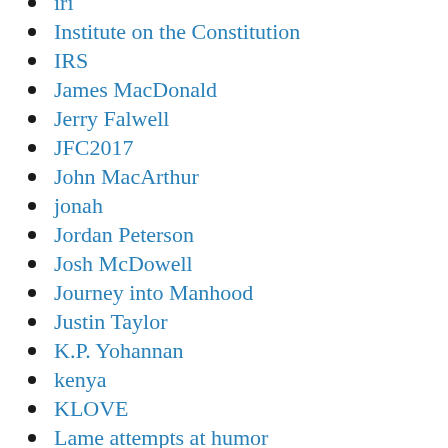iri
Institute on the Constitution
IRS
James MacDonald
Jerry Falwell
JFC2017
John MacArthur
jonah
Jordan Peterson
Josh McDowell
Journey into Manhood
Justin Taylor
K.P. Yohannan
kenya
KLOVE
Lame attempts at humor
latter day saints